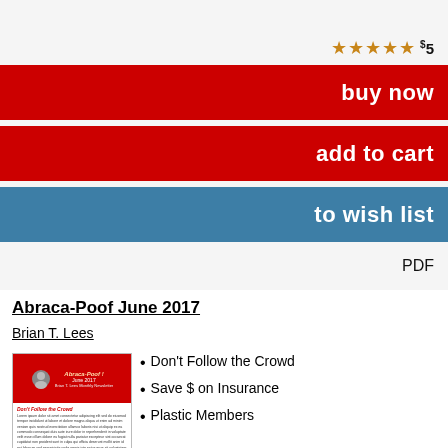★★★★★ $5
buy now
add to cart
to wish list
PDF
Abraca-Poof June 2017
Brian T. Lees
[Figure (illustration): Thumbnail of Abraca-Poof June 2017 newsletter cover and first page]
Don't Follow the Crowd
Save $ on Insurance
Plastic Members